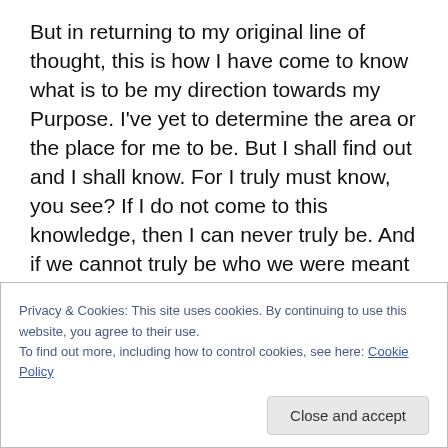But in returning to my original line of thought, this is how I have come to know what is to be my direction towards my Purpose. I've yet to determine the area or the place for me to be. But I shall find out and I shall know. For I truly must know, you see? If I do not come to this knowledge, then I can never truly be. And if we cannot truly be who we were meant to be, then what is the point after all?
So my friends, I would say to you all that do follow your passion and use well the gifts and talents you have been blessed with. By all means, do so for our world has need of you. Believe that for it is true. Yet do be aware of what
Privacy & Cookies: This site uses cookies. By continuing to use this website, you agree to their use.
To find out more, including how to control cookies, see here: Cookie Policy
Close and accept